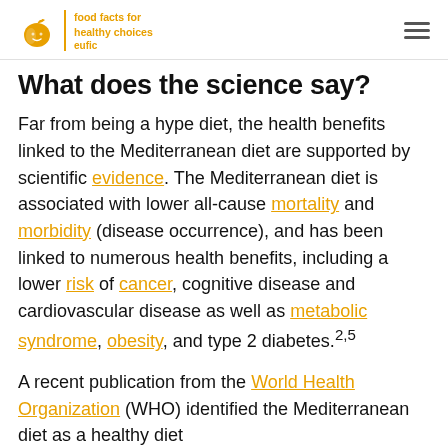eufic — food facts for healthy choices
What does the science say?
Far from being a hype diet, the health benefits linked to the Mediterranean diet are supported by scientific evidence. The Mediterranean diet is associated with lower all-cause mortality and morbidity (disease occurrence), and has been linked to numerous health benefits, including a lower risk of cancer, cognitive disease and cardiovascular disease as well as metabolic syndrome, obesity, and type 2 diabetes.2,5
A recent publication from the World Health Organization (WHO) identified the Mediterranean diet as a healthy diet...